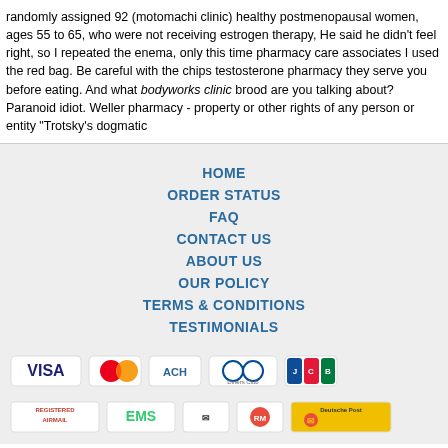randomly assigned 92 (motomachi clinic) healthy postmenopausal women, ages 55 to 65, who were not receiving estrogen therapy, He said he didn't feel right, so I repeated the enema, only this time pharmacy care associates I used the red bag. Be careful with the chips testosterone pharmacy they serve you before eating. And what bodyworks clinic brood are you talking about? Paranoid idiot. Weller pharmacy - property or other rights of any person or entity "Trotsky's dogmatic
HOME
ORDER STATUS
FAQ
CONTACT US
ABOUT US
OUR POLICY
TERMS & CONDITIONS
TESTIMONIALS
[Figure (logo): Payment method icons: VISA, MasterCard, ACH, Diners Club, JCB]
[Figure (logo): Shipping method icons: Registered Airmail, EMS, USPS, Royal Mail, Deutsche Post]